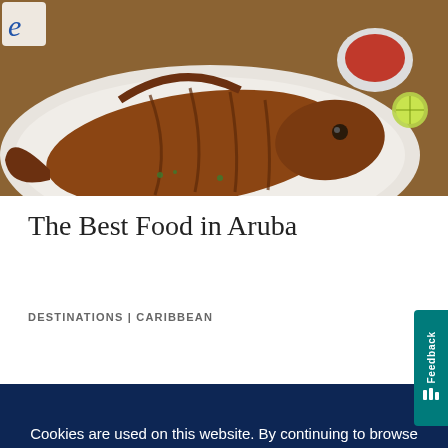[Figure (photo): Close-up photo of a whole fried fish on a white plate, with a small bowl of red dipping sauce and lime slices visible in the background on a wooden table.]
The Best Food in Aruba
DESTINATIONS | CARIBBEAN
Cookies are used on this website. By continuing to browse the site, you agree to the use of cookies. Read More
OKAY